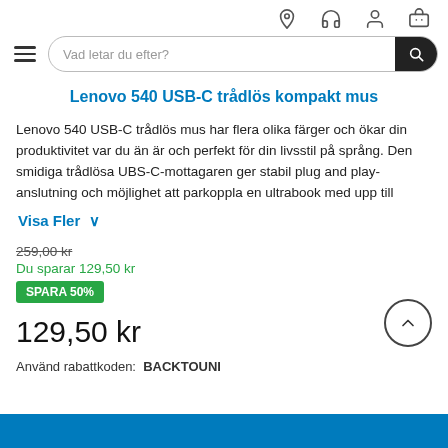Navigation icons: location, headset, account, cart
Vad letar du efter?
Lenovo 540 USB-C trådlös kompakt mus
Lenovo 540 USB-C trådlös mus har flera olika färger och ökar din produktivitet var du än är och perfekt för din livsstil på språng. Den smidiga trådlösa UBS-C-mottagaren ger stabil plug and play-anslutning och möjlighet att parkoppla en ultrabook med upp till
Visa Fler ∨
259,00 kr
Du sparar 129,50 kr
SPARA 50%
129,50 kr
Använd rabattkoden:  BACKTOUNI